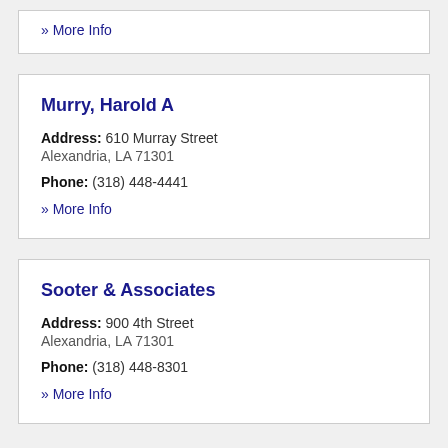» More Info
Murry, Harold A
Address: 610 Murray Street Alexandria, LA 71301
Phone: (318) 448-4441
» More Info
Sooter & Associates
Address: 900 4th Street Alexandria, LA 71301
Phone: (318) 448-8301
» More Info